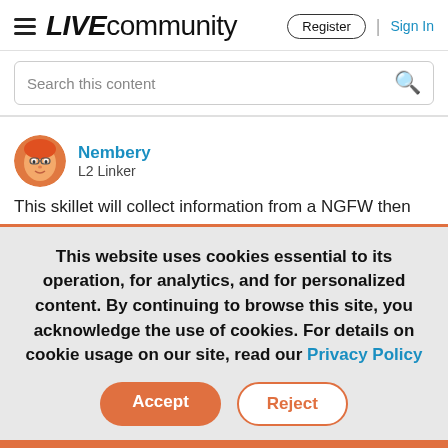LIVE community | Register | Sign In
Search this content
Nembery
L2 Linker
This skillet will collect information from a NGFW then post
This website uses cookies essential to its operation, for analytics, and for personalized content. By continuing to browse this site, you acknowledge the use of cookies. For details on cookie usage on our site, read our Privacy Policy